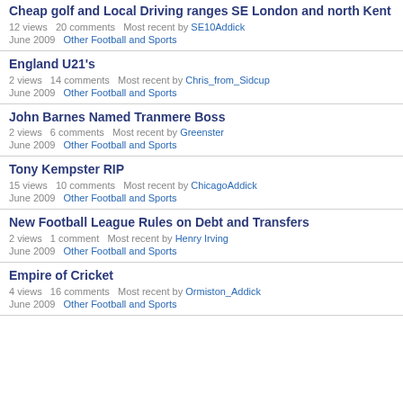Cheap golf and Local Driving ranges SE London and north Kent
12 views  20 comments  Most recent by SE10Addick
June 2009  Other Football and Sports
England U21's
2 views  14 comments  Most recent by Chris_from_Sidcup
June 2009  Other Football and Sports
John Barnes Named Tranmere Boss
2 views  6 comments  Most recent by Greenster
June 2009  Other Football and Sports
Tony Kempster RIP
15 views  10 comments  Most recent by ChicagoAddick
June 2009  Other Football and Sports
New Football League Rules on Debt and Transfers
2 views  1 comment  Most recent by Henry Irving
June 2009  Other Football and Sports
Empire of Cricket
4 views  16 comments  Most recent by Ormiston_Addick
June 2009  Other Football and Sports